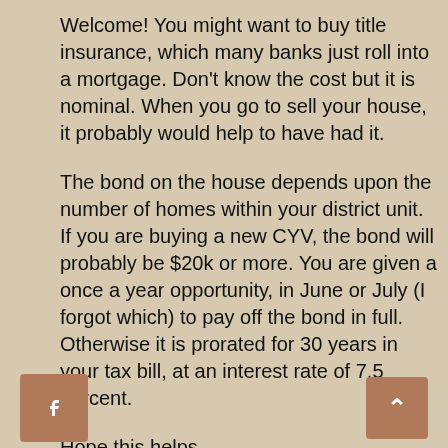Welcome! You might want to buy title insurance, which many banks just roll into a mortgage. Don't know the cost but it is nominal. When you go to sell your house, it probably would help to have had it.
The bond on the house depends upon the number of homes within your district unit. If you are buying a new CYV, the bond will probably be $20k or more. You are given a once a year opportunity, in June or July (I forgot which) to pay off the bond in full. Otherwise it is prorated for 30 years in your tax bill, at an interest rate of 7.5 percent.
Hope this helps.